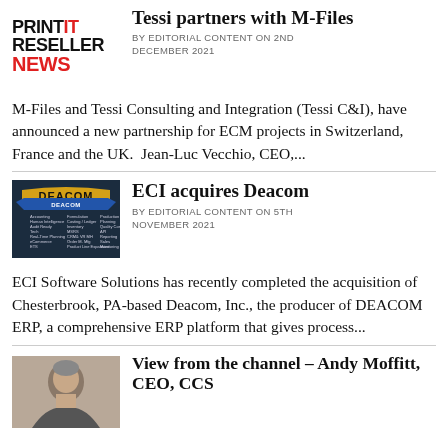PRINT IT RESELLER NEWS
Tessi partners with M-Files
BY EDITORIAL CONTENT ON 2ND DECEMBER 2021
M-Files and Tessi Consulting and Integration (Tessi C&I), have announced a new partnership for ECM projects in Switzerland, France and the UK.  Jean-Luc Vecchio, CEO,...
[Figure (logo): Deacom company logo on dark background with product feature list]
ECI acquires Deacom
BY EDITORIAL CONTENT ON 5TH NOVEMBER 2021
ECI Software Solutions has recently completed the acquisition of Chesterbrook, PA-based Deacom, Inc., the producer of DEACOM ERP, a comprehensive ERP platform that gives process...
[Figure (photo): Headshot of a man, Andy Moffitt, CEO, CCS]
View from the channel – Andy Moffitt, CEO, CCS